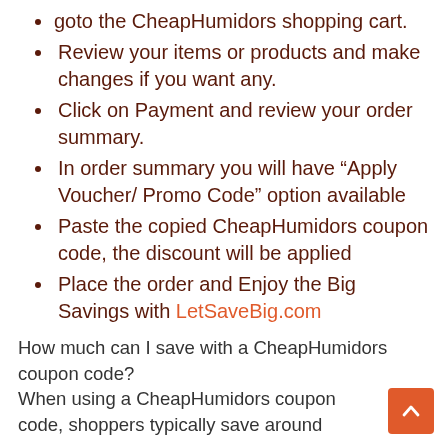goto the CheapHumidors shopping cart.
Review your items or products and make changes if you want any.
Click on Payment and review your order summary.
In order summary you will have “Apply Voucher/ Promo Code” option available
Paste the copied CheapHumidors coupon code, the discount will be applied
Place the order and Enjoy the Big Savings with LetSaveBig.com
How much can I save with a CheapHumidors coupon code? When using a CheapHumidors coupon code, shoppers typically save around